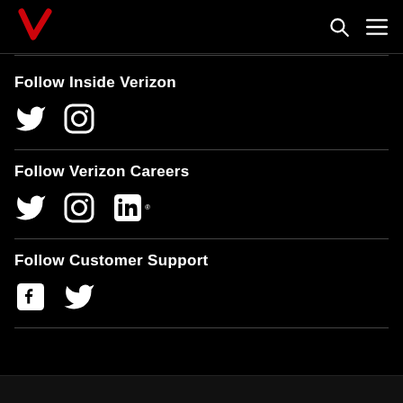Verizon logo, search, menu
Follow Inside Verizon
[Figure (illustration): Twitter and Instagram social media icons for Follow Inside Verizon]
Follow Verizon Careers
[Figure (illustration): Twitter, Instagram, and LinkedIn social media icons for Follow Verizon Careers]
Follow Customer Support
[Figure (illustration): Facebook and Twitter social media icons for Follow Customer Support]